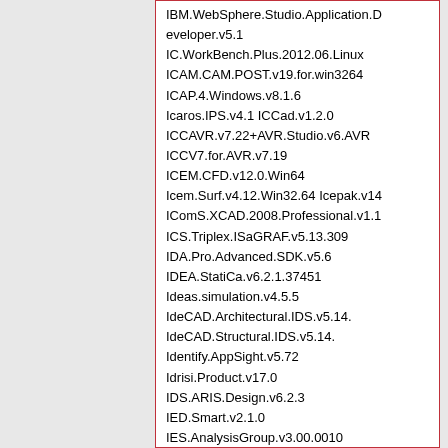IBM.WebSphere.Studio.Application.Developer.v5.1
IC.WorkBench.Plus.2012.06.Linux
ICAM.CAM.POST.v19.for.win3264
ICAP.4.Windows.v8.1.6
Icaros.IPS.v4.1 ICCad.v1.2.0
ICCAVR.v7.22+AVR.Studio.v6.AVR
ICCV7.for.AVR.v7.19
ICEM.CFD.v12.0.Win64
Icem.Surf.v4.12.Win32.64 Icepak.v14
IComS.XCAD.2008.Professional.v1.1
ICS.Triplex.ISaGRAF.v5.13.309
IDA.Pro.Advanced.SDK.v5.6
IDEA.StatiCa.v6.2.1.37451
Ideas.simulation.v4.5.5
IdeCAD.Architectural.IDS.v5.14.
IdeCAD.Structural.IDS.v5.14.
Identify.AppSight.v5.72
Idrisi.Product.v17.0
IDS.ARIS.Design.v6.2.3
IED.Smart.v2.1.0
IES.AnalysisGroup.v3.00.0010
IES.Coulomb.9.2
IES.Easy.Algebra.v1.1
IES.Easy.Test.v3.1 IES.Electro.9.2
IES.Import.Utility.v2009.09.18
IES.PetroMod.v11.0.SP2
IES.QuickConcreteWall.v2.00.0003